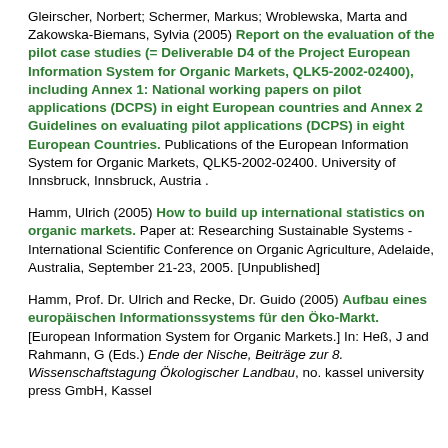Gleirscher, Norbert; Schermer, Markus; Wroblewska, Marta and Zakowska-Biemans, Sylvia (2005) Report on the evaluation of the pilot case studies (= Deliverable D4 of the Project European Information System for Organic Markets, QLK5-2002-02400), including Annex 1: National working papers on pilot applications (DCPS) in eight European countries and Annex 2 Guidelines on evaluating pilot applications (DCPS) in eight European Countries. Publications of the European Information System for Organic Markets, QLK5-2002-02400. University of Innsbruck, Innsbruck, Austria .
Hamm, Ulrich (2005) How to build up international statistics on organic markets. Paper at: Researching Sustainable Systems - International Scientific Conference on Organic Agriculture, Adelaide, Australia, September 21-23, 2005. [Unpublished]
Hamm, Prof. Dr. Ulrich and Recke, Dr. Guido (2005) Aufbau eines europäischen Informationssystems für den Öko-Markt. [European Information System for Organic Markets.] In: Heß, J and Rahmann, G (Eds.) Ende der Nische, Beiträge zur 8. Wissenschaftstagung Ökologischer Landbau, no. kassel university press GmbH, Kassel.